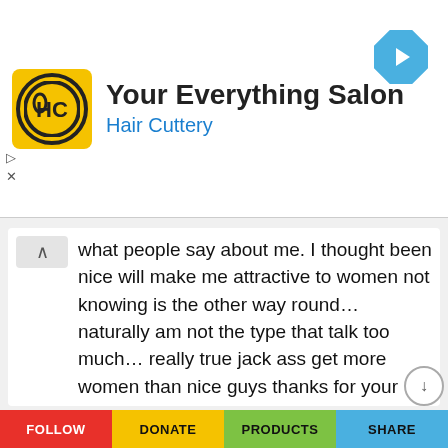[Figure (screenshot): Hair Cuttery ad banner with yellow logo showing HC in circle, title 'Your Everything Salon', subtitle 'Hair Cuttery', and blue navigation diamond icon]
what people say about me. I thought been nice will make me attractive to women not knowing is the other way round… naturally am not the type that talk too much… really true jack ass get more women than nice guys thanks for your unending world of wisdom now am becoming an alpha male who don't care wat women thinks about me…
Q Ortiz
REPLY
August 17, 2020 at 4:51 pm
FOLLOW   DONATE   PRODUCTS   SHARE